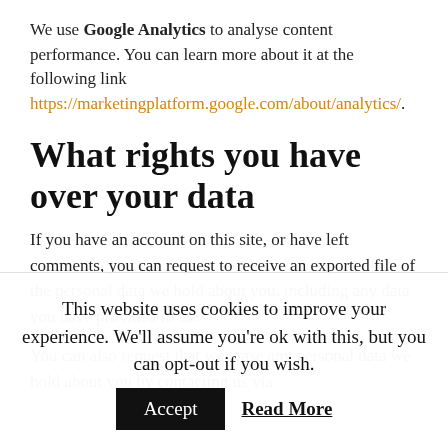We use Google Analytics to analyse content performance. You can learn more about it at the following link https://marketingplatform.google.com/about/analytics/.
What rights you have over your data
If you have an account on this site, or have left comments, you can request to receive an exported file of the personal data we hold about you, including any data you have provided to us.
You can also request that we erase any personal data we hold about you by contacting us via handmade@talidaionita.com. This does not include any data we are obliged to keep for
This website uses cookies to improve your experience. We'll assume you're ok with this, but you can opt-out if you wish.